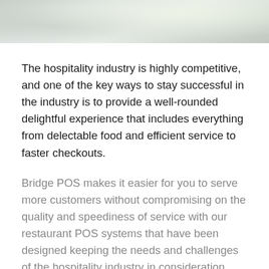[Figure (photo): Top banner photo: close-up of white plates/tableware in a restaurant setting, muted tones of grey, green and cream]
The hospitality industry is highly competitive, and one of the key ways to stay successful in the industry is to provide a well-rounded delightful experience that includes everything from delectable food and efficient service to faster checkouts.
Bridge POS makes it easier for you to serve more customers without compromising on the quality and speediness of service with our restaurant POS systems that have been designed keeping the needs and challenges of the hospitality industry in consideration.